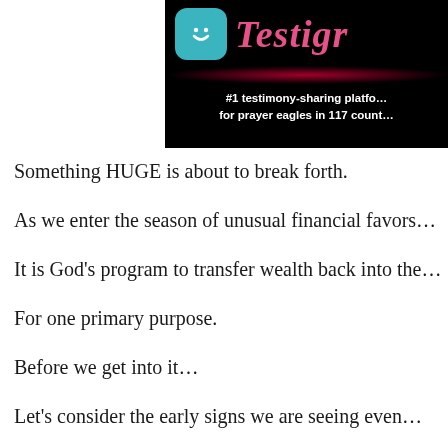[Figure (logo): Testigr app banner on dark background with teal icon showing a smiley face, pink cursive brand name 'Testigr', a red glow line, and white bold text '#1 testimony-sharing platform for prayer eagles in 117 count[ries]']
Something HUGE is about to break forth.
As we enter the season of unusual financial favors…
It is God's program to transfer wealth back into the…
For one primary purpose.
Before we get into it…
Let's consider the early signs we are seeing even…